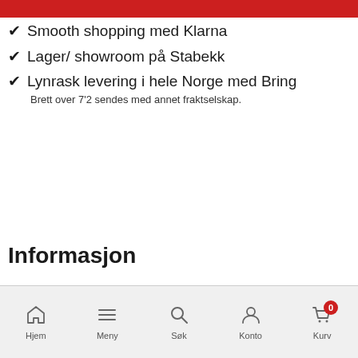✔ Smooth shopping med Klarna
✔ Lager/ showroom på Stabekk
✔ Lynrask levering i hele Norge med Bring
Brett over 7'2 sendes med annet fraktselskap.
Informasjon
Hjem  Meny  Søk  Konto  Kurv  0